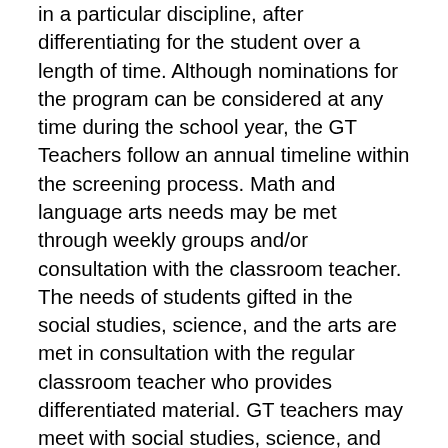in a particular discipline, after differentiating for the student over a length of time. Although nominations for the program can be considered at any time during the school year, the GT Teachers follow an annual timeline within the screening process. Math and language arts needs may be met through weekly groups and/or consultation with the classroom teacher. The needs of students gifted in the social studies, science, and the arts are met in consultation with the regular classroom teacher who provides differentiated material. GT teachers may meet with social studies, science, and art students regarding independent projects as needed.
Fall: GT teachers check in with classroom teachers every fall. Together, they discuss students who excel or have the potential to excel, beyond their age peers, in the regular school